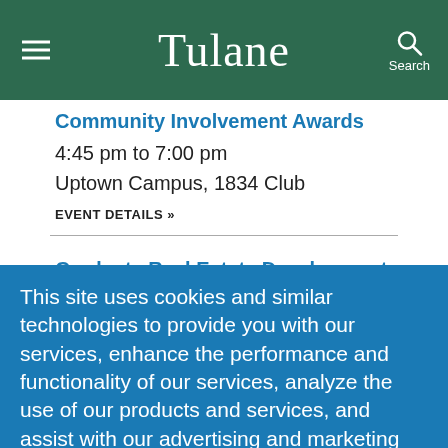Tulane
Community Involvement Awards
4:45 pm to 7:00 pm
Uptown Campus, 1834 Club
EVENT DETAILS »
Graduate Real Estate Development
This site uses cookies and similar technologies to provide you with our services, enhance the performance and functionality of our services, analyze the use of our products and services, and assist with our advertising and marketing efforts.  Privacy Notice  GDPR Privacy Policy
ACCEPT   Decline